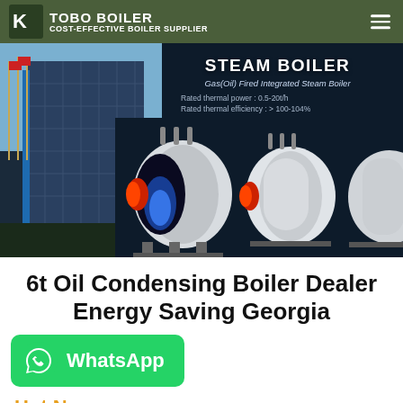COST-EFFECTIVE BOILER SUPPLIER
[Figure (photo): Steam boiler product photo with building background. Shows Gas(Oil) Fired Integrated Steam Boiler with text: STEAM BOILER, Gas(Oil) Fired Integrated Steam Boiler, Rated thermal power: 0.5-20t/h, Rated thermal efficiency: > 100-104%]
6t Oil Condensing Boiler Dealer Energy Saving Georgia
[Figure (other): WhatsApp contact button with logo]
Hot N...